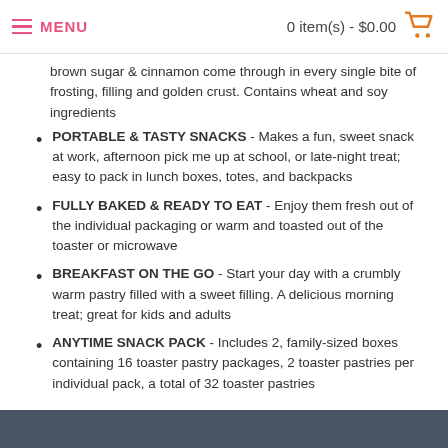MENU   0 item(s) - $0.00
brown sugar & cinnamon come through in every single bite of frosting, filling and golden crust. Contains wheat and soy ingredients
PORTABLE & TASTY SNACKS - Makes a fun, sweet snack at work, afternoon pick me up at school, or late-night treat; easy to pack in lunch boxes, totes, and backpacks
FULLY BAKED & READY TO EAT - Enjoy them fresh out of the individual packaging or warm and toasted out of the toaster or microwave
BREAKFAST ON THE GO - Start your day with a crumbly warm pastry filled with a sweet filling. A delicious morning treat; great for kids and adults
ANYTIME SNACK PACK - Includes 2, family-sized boxes containing 16 toaster pastry packages, 2 toaster pastries per individual pack, a total of 32 toaster pastries